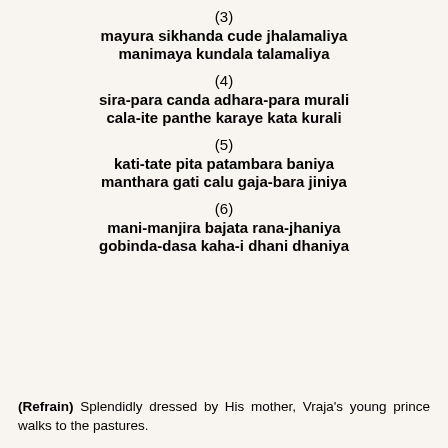(3)
mayura sikhanda cude jhalamaliya
manimaya kundala talamaliya
(4)
sira-para canda adhara-para murali
cala-ite panthe karaye kata kurali
(5)
kati-tate pita patambara baniya
manthara gati calu gaja-bara jiniya
(6)
mani-manjira bajata rana-jhaniya
gobinda-dasa kaha-i dhani dhaniya
(Refrain) Splendidly dressed by His mother, Vraja's young prince walks to the pastures.